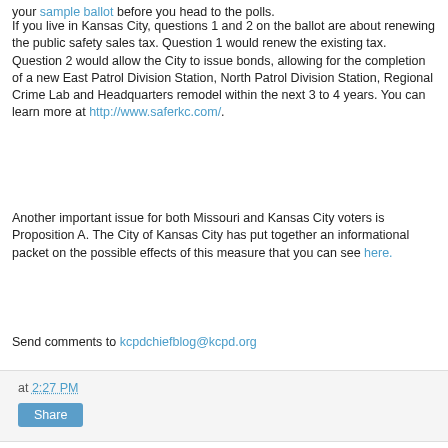your sample ballot before you head to the polls.
If you live in Kansas City, questions 1 and 2 on the ballot are about renewing the public safety sales tax. Question 1 would renew the existing tax. Question 2 would allow the City to issue bonds, allowing for the completion of a new East Patrol Division Station, North Patrol Division Station, Regional Crime Lab and Headquarters remodel within the next 3 to 4 years. You can learn more at http://www.saferkc.com/.
Another important issue for both Missouri and Kansas City voters is Proposition A. The City of Kansas City has put together an informational packet on the possible effects of this measure that you can see here.
Send comments to kcpdchiefblog@kcpd.org
at 2:27 PM
Share